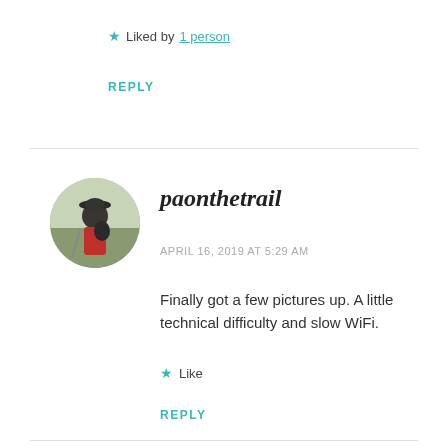★ Liked by 1 person
REPLY
[Figure (photo): Circular avatar photo of a person with a backpack on a trail]
paonthetrail
APRIL 16, 2019 AT 5:29 AM
Finally got a few pictures up. A little technical difficulty and slow WiFi.
★ Like
REPLY